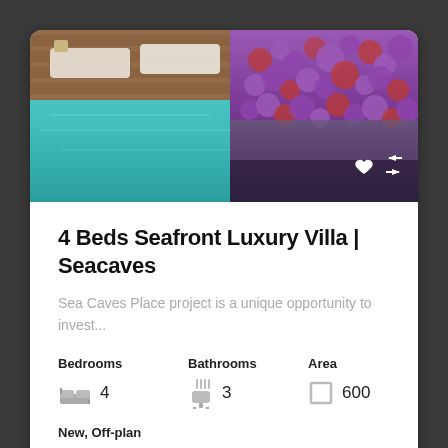[Figure (photo): Outdoor swimming pool with teal water, white lounge chairs on a wooden deck, and purple flowering plants (lavender/tulips) in the background. Heart and arrow navigation icons overlaid on lower right of photo.]
4 Beds Seafront Luxury Villa | Seacaves
Sea Caves Place project is a unique opportunity to invest...
Bedrooms 4  Bathrooms 3  Area 600
New, Off-plan
€3,500,000